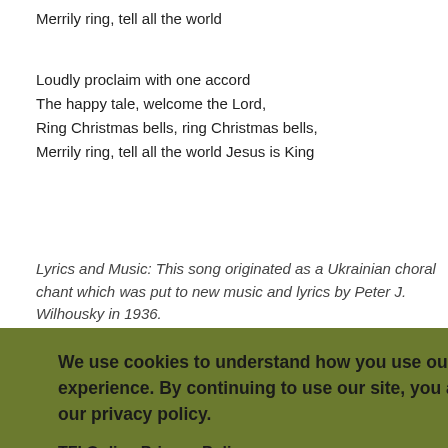Merrily ring, tell all the world
Loudly proclaim with one accord
The happy tale, welcome the Lord,
Ring Christmas bells, ring Christmas bells,
Merrily ring, tell all the world Jesus is King
Lyrics and Music: This song originated as a Ukrainian choral chant which was put to new music and lyrics by Peter J. Wilhousky in 1936.
[Figure (other): Cookie consent overlay with green background containing privacy policy text, links to TFI Online Privacy Policy and TFI Online Cookie Policy, and an I Accept button]
son, and you are to give him the name Jesus. He will be great and will